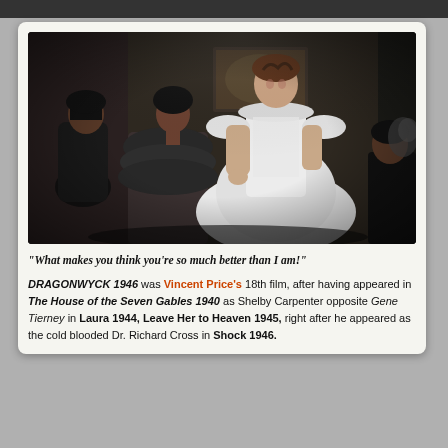[Figure (photo): Black and white movie still from Dragonwyck 1946 showing a woman in a large white ballgown standing while two other women in period dress are seated, in an ornate room setting.]
“What makes you think you’re so much better than I am!”
DRAGONWYCK 1946 was Vincent Price’s 18th film, after having appeared in The House of the Seven Gables 1940 as Shelby Carpenter opposite Gene Tierney in Laura 1944, Leave Her to Heaven 1945, right after he appeared as the cold blooded Dr. Richard Cross in Shock 1946.